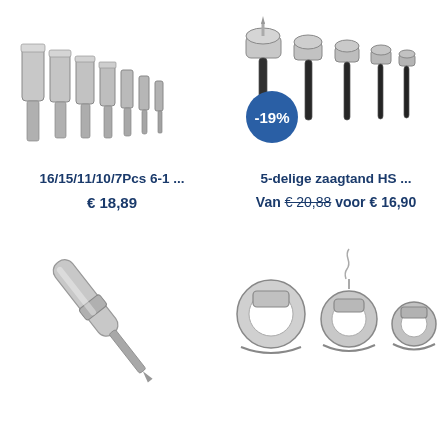[Figure (photo): Set of diamond core drill bits in various sizes, silver/chrome colored, arranged in a row from large to small]
[Figure (photo): 5-piece HSS hole saw set with black shanks and silver cutting heads, with a -19% discount badge]
16/15/11/10/7Pcs 6-1 ...
5-delige zaagtand HS ...
€ 18,89
Van € 20,88 voor € 16,90
[Figure (photo): Single long drill bit or hole saw arbor, silver colored]
[Figure (photo): Set of three bi-metal hole saws in various sizes, silver colored with teeth]